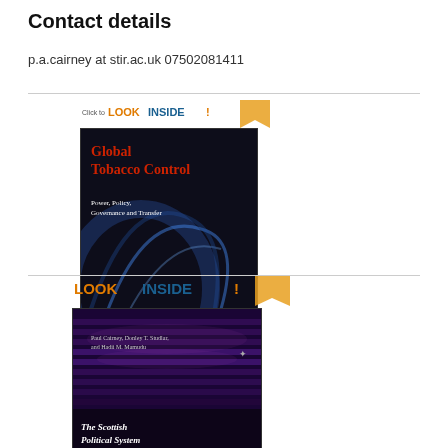Contact details
p.a.cairney at stir.ac.uk 07502081411
[Figure (illustration): Book cover for 'Global Tobacco Control: Power, Policy, Governance and Transfer' with a 'Click to LOOK INSIDE!' badge and Kindle edition label. Dark cover with smoke imagery and red title text.]
[Figure (illustration): Book cover for 'The Scottish Political System Since Devolution' with a 'LOOK INSIDE!' badge. Dark cover showing rows of parliament seats.]